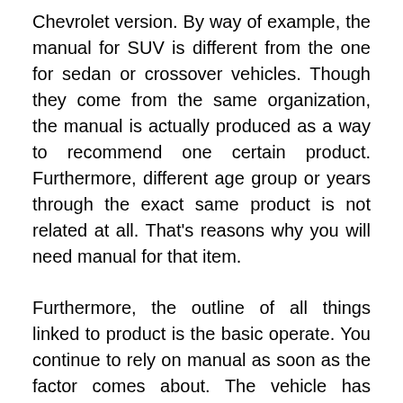Chevrolet version. By way of example, the manual for SUV is different from the one for sedan or crossover vehicles. Though they come from the same organization, the manual is actually produced as a way to recommend one certain product. Furthermore, different age group or years through the exact same product is not related at all. That’s reasons why you will need manual for that item.
Furthermore, the outline of all things linked to product is the basic operate. You continue to rely on manual as soon as the factor comes about. The vehicle has complicated modern technology and some problems usually occur that owner could not predict. In manual, there is guideline the way